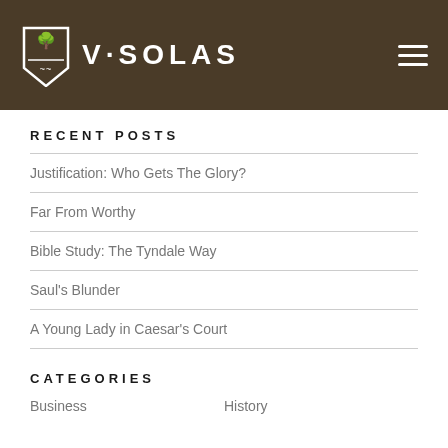V·SOLAS
RECENT POSTS
Justification: Who Gets The Glory?
Far From Worthy
Bible Study: The Tyndale Way
Saul's Blunder
A Young Lady in Caesar's Court
CATEGORIES
Business
History